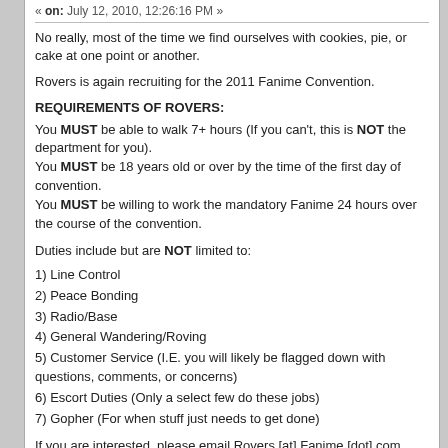« on: July 12, 2010, 12:26:16 PM »
No really, most of the time we find ourselves with cookies, pie, or cake at one point or another.
Rovers is again recruiting for the 2011 Fanime Convention.
REQUIREMENTS OF ROVERS:
You MUST be able to walk 7+ hours (If you can't, this is NOT the department for you).
You MUST be 18 years old or over by the time of the first day of convention.
You MUST be willing to work the mandatory Fanime 24 hours over the course of the convention.
Duties include but are NOT limited to:
1) Line Control
2) Peace Bonding
3) Radio/Base
4) General Wandering/Roving
5) Customer Service (I.E. you will likely be flagged down with questions, comments, or concerns)
6) Escort Duties (Only a select few do these jobs)
7) Gopher (For when stuff just needs to get done)
If you are interested, please email Rovers [at] Fanime [dot] com.
Thank you,